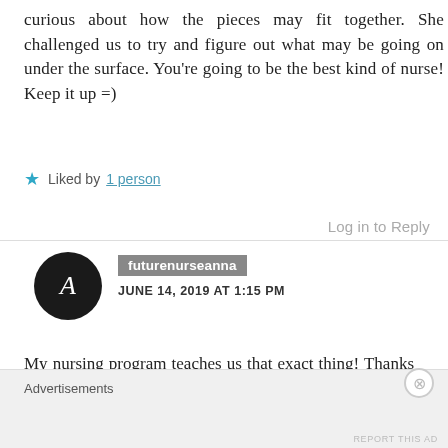curious about how the pieces may fit together. She challenged us to try and figure out what may be going on under the surface. You're going to be the best kind of nurse! Keep it up =)
★ Liked by 1 person
Log in to Reply
futurenurseanna
JUNE 14, 2019 AT 1:15 PM
My nursing program teaches us that exact thing! Thanks for reading!
Advertisements